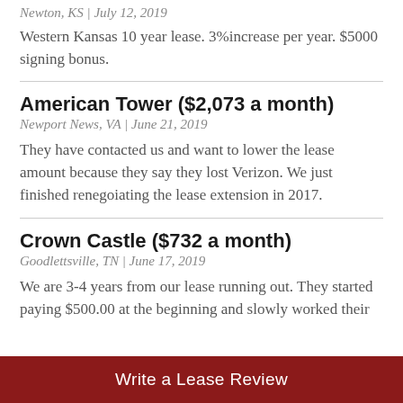Newton, KS | July 12, 2019
Western Kansas 10 year lease. 3%increase per year. $5000 signing bonus.
American Tower ($2,073 a month)
Newport News, VA | June 21, 2019
They have contacted us and want to lower the lease amount because they say they lost Verizon. We just finished renegoiating the lease extension in 2017.
Crown Castle ($732 a month)
Goodlettsville, TN | June 17, 2019
We are 3-4 years from our lease running out. They started paying $500.00 at the beginning and slowly worked their
Write a Lease Review